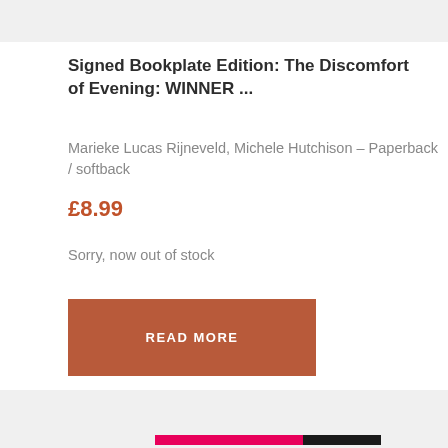Signed Bookplate Edition: The Discomfort of Evening: WINNER ...
Marieke Lucas Rijneveld, Michele Hutchison – Paperback / softback
£8.99
Sorry, now out of stock
READ MORE